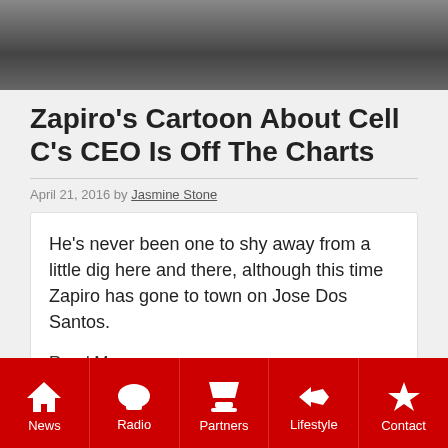[Figure (photo): Top photo of a person in grayscale, partially cropped]
Zapiro's Cartoon About Cell C's CEO Is Off The Charts
April 21, 2016 by Jasmine Stone
He's never been one to shy away from a little dig here and there, although this time Zapiro has gone to town on Jose Dos Santos.
Read More
[Figure (photo): Bottom photo, partially visible, dark tones]
News | Radio | Partners | Lifestyle | Contact